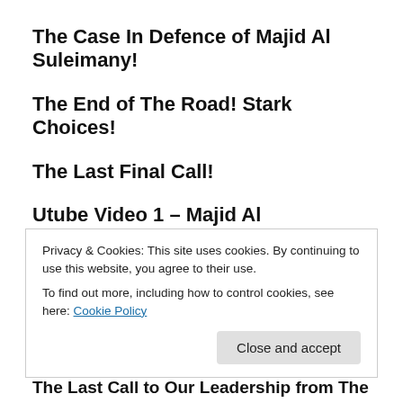The Case In Defence of Majid Al Suleimany!
The End of The Road! Stark Choices!
The Last Final Call!
Utube Video 1 – Majid Al Suleimany:
https://youtu.be/0BtQP7LyO00
Utube Video 2- Majid Al Suleimany:
https://youtu.be/TNkqgylqoKs
Privacy & Cookies: This site uses cookies. By continuing to use this website, you agree to their use.
To find out more, including how to control cookies, see here: Cookie Policy
The Last Call to Our Leadership from The English ...